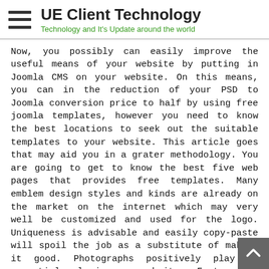UE Client Technology — Technology and It's Update around the world
Now, you possibly can easily improve the useful means of your website by putting in Joomla CMS on your website. On this means, you can in the reduction of your PSD to Joomla conversion price to half by using free joomla templates, however you need to know the best locations to seek out the suitable templates to your website. This article goes that may aid you in a grater methodology. You are going to get to know the best five web pages that provides free templates. Many emblem design styles and kinds are already on the market on the internet which may very well be customized and used for the logo. Uniqueness is advisable and easily copy-paste will spoil the job as a substitute of making it good. Photographs positively play an essential role in your websites. Footage are those who enable the purchasers establish an emotional reference to the ...
mike
No Comments
Web Design